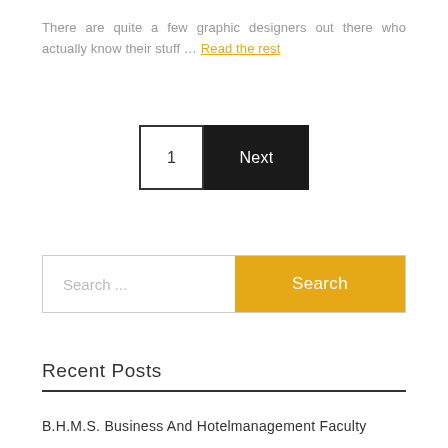There are quite a few graphic designers out there who actually know their stuff … Read the rest
1  Next
[Figure (other): Search input field with placeholder 'Search ...' and an orange 'Search' button]
Recent Posts
B.H.M.S. Business And Hotelmanagement Faculty